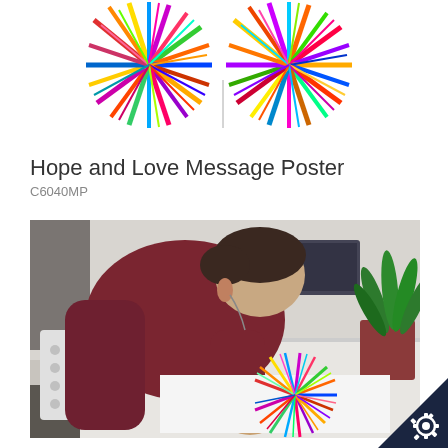[Figure (photo): Two colorful burst/explosion artworks side by side, with radiating multicolored lines in a sunburst pattern against a white background]
Hope and Love Message Poster
C6040MP
[Figure (photo): A man in a dark red ribbed sweater leaning over a white table, examining or placing a colorful radiating artwork print on a white sheet of paper. A red plant pot with a green plant is visible in the background.]
[Figure (logo): Dark navy triangle corner with a white gear/cog icon]